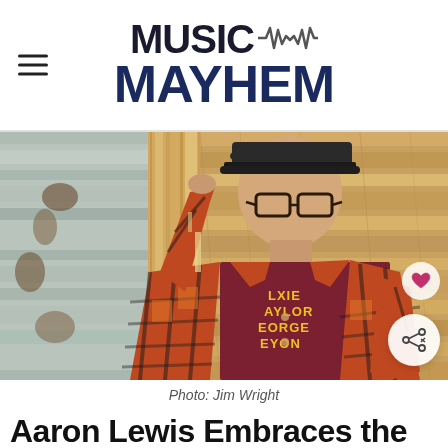MUSIC MAYHEM
[Figure (photo): A man wearing glasses, a baseball cap, and a plaid flannel shirt over a burgundy graphic t-shirt, leaning against a wooden wall/barn structure. Photo by Jim Wright.]
Photo: Jim Wright
Aaron Lewis Embraces the